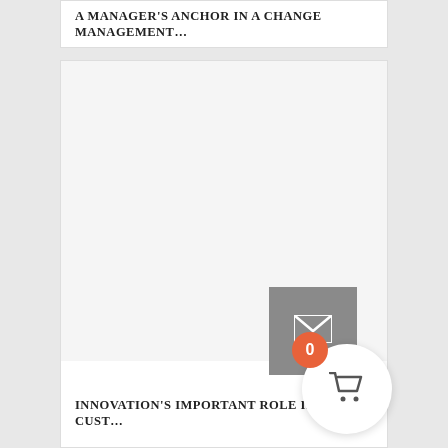A MANAGER'S ANCHOR IN A CHANGE MANAGEMENT…
[Figure (photo): Large image area, mostly white/blank content area of an article card]
INNOVATION'S IMPORTANT ROLE IN GREAT CUST…